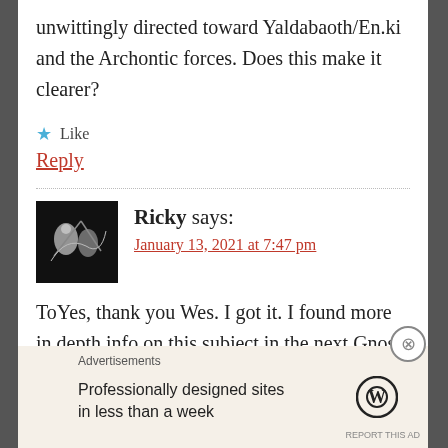unwittingly directed toward Yaldabaoth/En.ki and the Archontic forces. Does this make it clearer?
Like
Reply
Ricky says:
January 13, 2021 at 7:47 pm
ToYes, thank you Wes. I got it. I found more in depth info on this subject in the next Gnosis
Advertisements
Professionally designed sites in less than a week